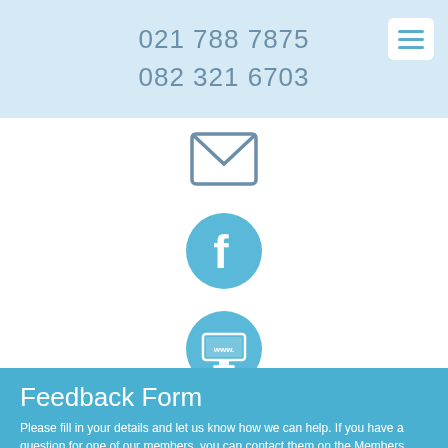021 788 7875
082 321 6703
[Figure (illustration): Email envelope icon (outline style, grey)]
[Figure (illustration): Facebook logo icon in a blue circle]
[Figure (illustration): Website/www monitor icon in a blue circle]
Feedback Form
Please fill in your details and let us know how we can help. If you have a question for one of our members, you can contact them on the Members page